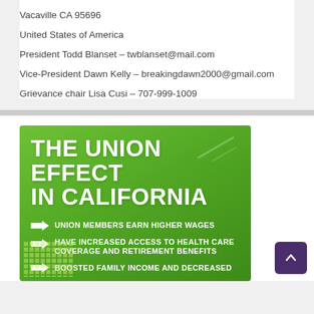Vacaville CA 95696
United States of America
President Todd Blanset – twblanset@mail.com
Vice-President Dawn Kelly – breakingdawn2000@gmail.com
Grievance chair Lisa Cusi – 707-999-1009
[Figure (infographic): Green banner infographic titled 'THE UNION EFFECT IN CALIFORNIA' with three bullet points indicated by arrows: 'UNION MEMBERS EARN HIGHER WAGES', 'HAVE INCREASED ACCESS TO HEALTH CARE COVERAGE AND RETIREMENT BENEFITS', 'BOOSTED FAMILY INCOME AND DECREASED']